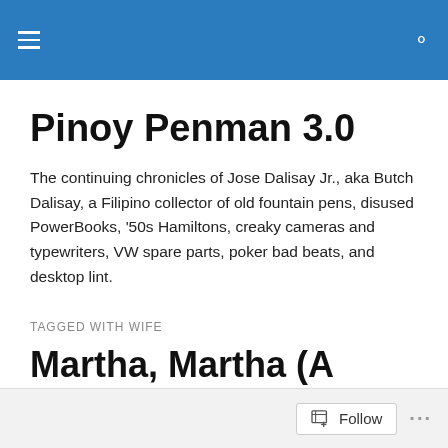Pinoy Penman 3.0 — navigation header
Pinoy Penman 3.0
The continuing chronicles of Jose Dalisay Jr., aka Butch Dalisay, a Filipino collector of old fountain pens, disused PowerBooks, '50s Hamiltons, creaky cameras and typewriters, VW spare parts, poker bad beats, and desktop lint.
TAGGED WITH WIFE
Martha, Martha (A Christmas Story)
Follow